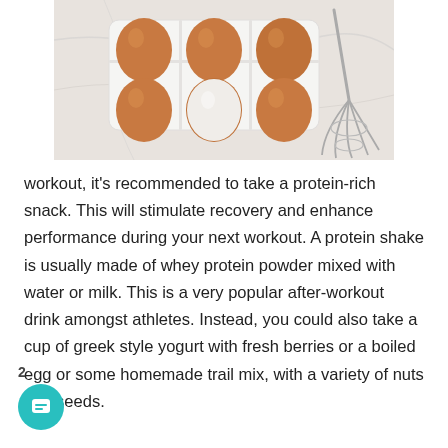[Figure (photo): A white egg carton with brown eggs on a marble surface, with a metal whisk beside the carton.]
workout, it’s recommended to take a protein-rich snack. This will stimulate recovery and enhance performance during your next workout. A protein shake is usually made of whey protein powder mixed with water or milk. This is a very popular after-workout drink amongst athletes. Instead, you could also take a cup of greek style yogurt with fresh berries or a boiled egg or some homemade trail mix, with a variety of nuts and seeds.